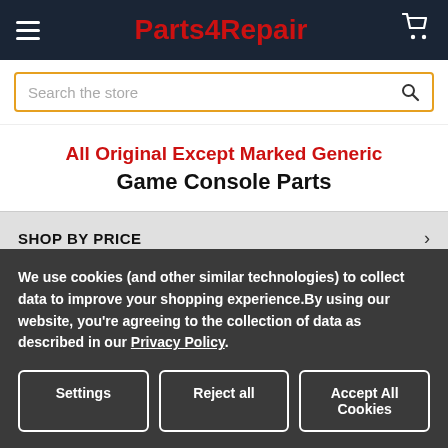Parts4Repair
Search the store
All Original Except Marked Generic
Game Console Parts
SHOP BY PRICE
POPULAR BRANDS
We use cookies (and other similar technologies) to collect data to improve your shopping experience.By using our website, you're agreeing to the collection of data as described in our Privacy Policy.